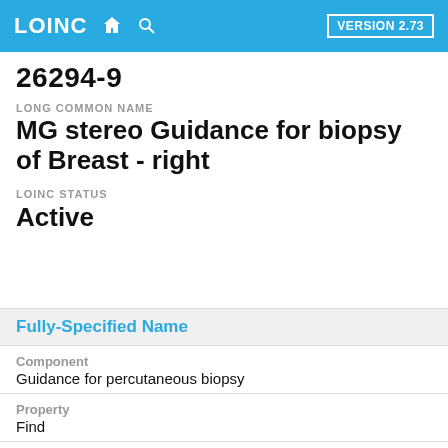LOINC  VERSION 2.73
26294-9
LONG COMMON NAME
MG stereo Guidance for biopsy of Breast - right
LOINC STATUS
Active
Fully-Specified Name
Component
Guidance for percutaneous biopsy
Property
Find
Time
Pt